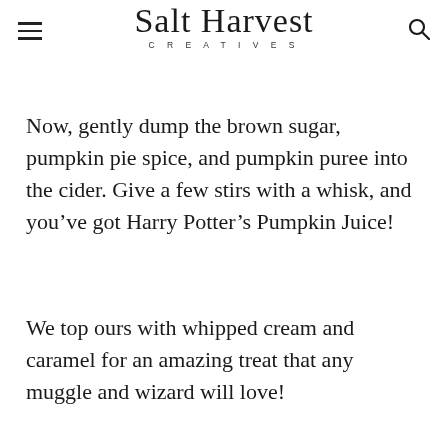Salt Harvest Creatives
Now, gently dump the brown sugar, pumpkin pie spice, and pumpkin puree into the cider. Give a few stirs with a whisk, and you’ve got Harry Potter’s Pumpkin Juice!
We top ours with whipped cream and caramel for an amazing treat that any muggle and wizard will love!